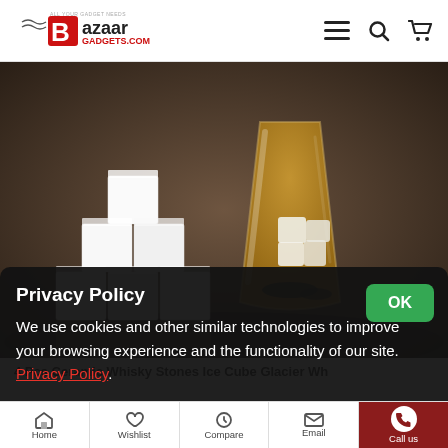[Figure (logo): Bazaar Gadgets logo with red B and tagline 'All your gadget needs bazaargadgets.com']
[Figure (photo): White ceramic whisky stones ice cubes stacked in pyramid shape alongside a glass of whisky with ice stones inside, dark moody background]
4 Pcs Ceramic Whisky Stones Ice Cube Glacier Wh...
Privacy Policy
We use cookies and other similar technologies to improve your browsing experience and the functionality of our site. Privacy Policy.
Home   Wishlist   Compare   Email   Call us